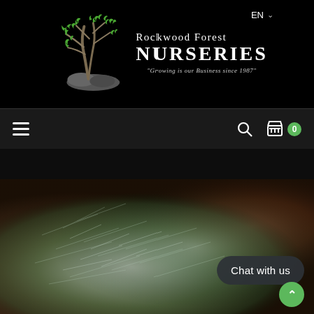EN
[Figure (logo): Rockwood Forest Nurseries logo — stylized tree with green leaves over rocky base, with text 'Rockwood Forest NURSERIES' and tagline 'Growing is our Business since 1987']
[Figure (screenshot): Navigation bar with hamburger menu on left, search icon and cart icon with badge '0' on right]
[Figure (photo): Close-up photo of silvery-blue conifer/pine foliage (needles) with blurred brown mulch background]
Chat with us